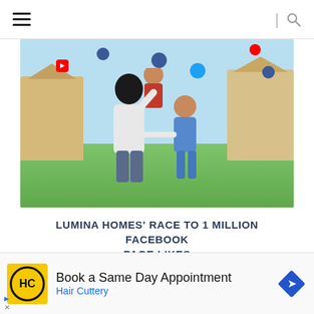Navigation header with hamburger menu and search icon
[Figure (photo): Lumina Homes promotional image showing a family (parent lifting child, another child nearby) in front of residential houses with a light blue sky background and floating social media icons]
LUMINA HOMES' RACE TO 1 MILLION FACEBOOK PAGE LIKES
[Figure (other): Chevron/expand button on left side]
[Figure (other): Advertisement: Hair Cuttery - Book a Same Day Appointment]